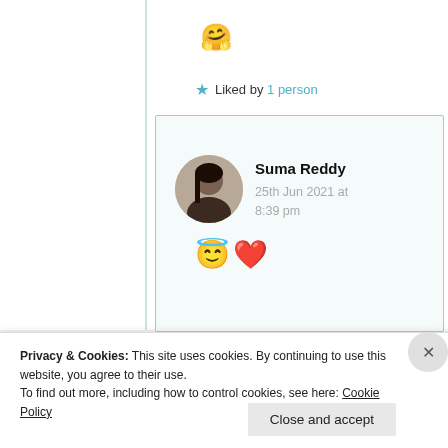🤗
★ Liked by 1 person
Suma Reddy
25th Jun 2021 at 8:39 pm
😇❤️
Privacy & Cookies: This site uses cookies. By continuing to use this website, you agree to their use.
To find out more, including how to control cookies, see here: Cookie Policy
Close and accept